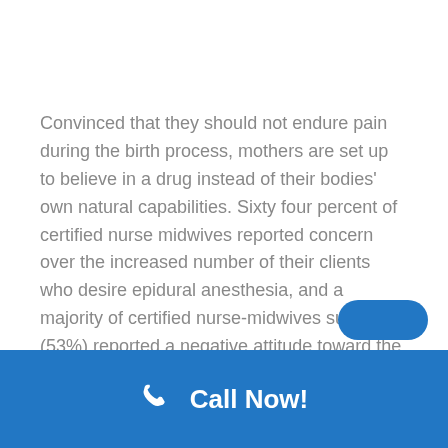Convinced that they should not endure pain during the birth process, mothers are set up to believe in a drug instead of their bodies' own natural capabilities. Sixty four percent of certified nurse midwives reported concern over the increased number of their clients who desire epidural anesthesia, and a majority of certified nurse-midwives surveyed (53%) reported a negative attitude toward the increased use of epidurals.
We started including questions about births
Call Now!